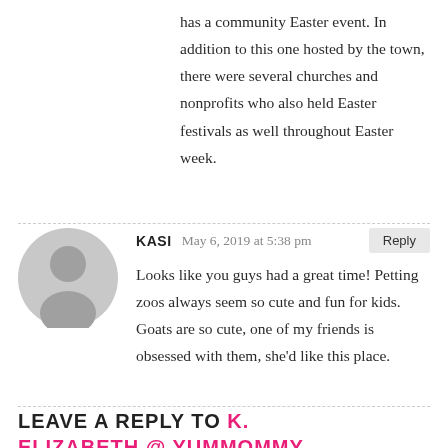has a community Easter event. In addition to this one hosted by the town, there were several churches and nonprofits who also held Easter festivals as well throughout Easter week.
[Figure (illustration): Gray placeholder avatar icon showing a silhouetted person, typical of a comment/profile placeholder.]
KASI   May 6, 2019 at 5:38 pm   Reply
Looks like you guys had a great time! Petting zoos always seem so cute and fun for kids. Goats are so cute, one of my friends is obsessed with them, she'd like this place.
LEAVE A REPLY TO K. ELIZABETH @ YUMMOMMY